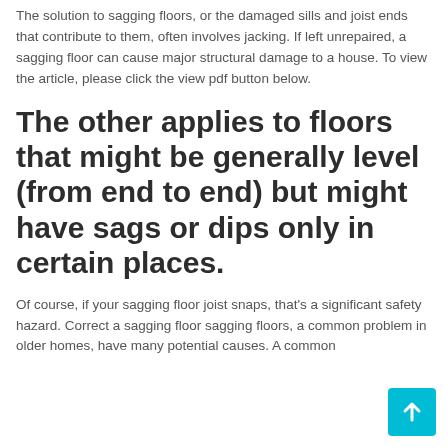The solution to sagging floors, or the damaged sills and joist ends that contribute to them, often involves jacking. If left unrepaired, a sagging floor can cause major structural damage to a house. To view the article, please click the view pdf button below.
The other applies to floors that might be generally level (from end to end) but might have sags or dips only in certain places.
Of course, if your sagging floor joist snaps, that's a significant safety hazard. Correct a sagging floor sagging floors, a common problem in older homes, have many potential causes. A common